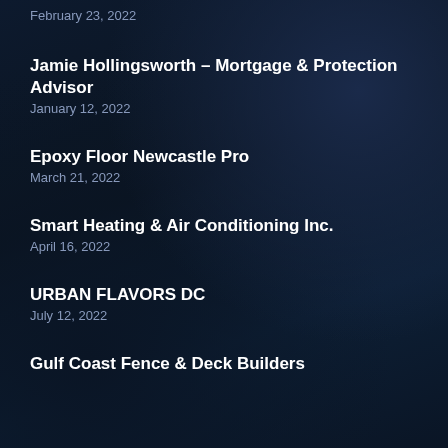February 23, 2022
Jamie Hollingsworth – Mortgage & Protection Advisor
January 12, 2022
Epoxy Floor Newcastle Pro
March 21, 2022
Smart Heating & Air Conditioning Inc.
April 16, 2022
URBAN FLAVORS DC
July 12, 2022
Gulf Coast Fence & Deck Builders